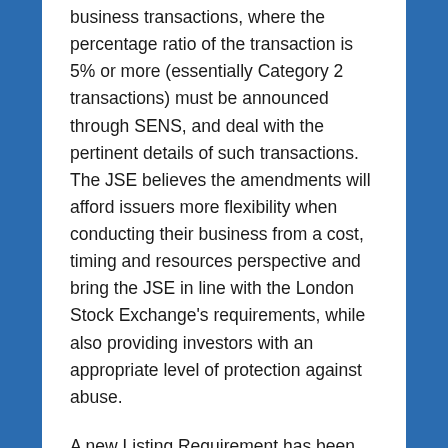business transactions, where the percentage ratio of the transaction is 5% or more (essentially Category 2 transactions) must be announced through SENS, and deal with the pertinent details of such transactions. The JSE believes the amendments will afford issuers more flexibility when conducting their business from a cost, timing and resources perspective and bring the JSE in line with the London Stock Exchange's requirements, while also providing investors with an appropriate level of protection against abuse.
A new Listing Requirement has been included to exclude transactions with a director or any associate of a director from the “ordinary course of business” exemption. The JSE is of the view that this will enhance the integrity of the exemption and will afford issuers more clarity on what constitutes “ordinary course of business”. The consequence of this amendment is that these types of transactions will continue to be subject to the related party